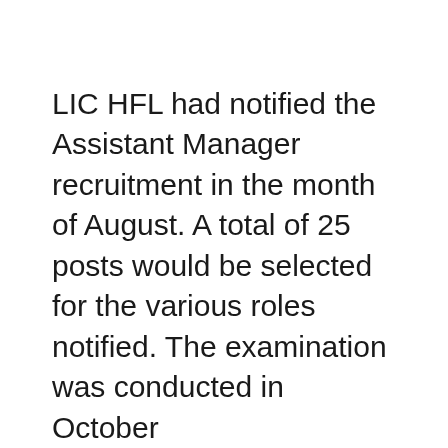LIC HFL had notified the Assistant Manager recruitment in the month of August. A total of 25 posts would be selected for the various roles notified. The examination was conducted in October